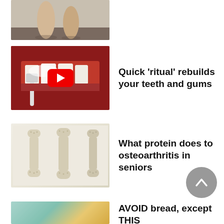[Figure (photo): Partial view of bare feet/legs standing on a floor, cropped at top]
[Figure (photo): Close-up of teeth being brushed with toothpaste and toothbrush, with YouTube play button overlay]
Quick 'ritual' rebuilds your teeth and gums
[Figure (illustration): Three bone cross-sections showing osteoarthritis, joint structure illustration]
What protein does to osteoarthritis in seniors
[Figure (photo): Partial view of bread/food items, cropped at bottom]
AVOID bread, except THIS